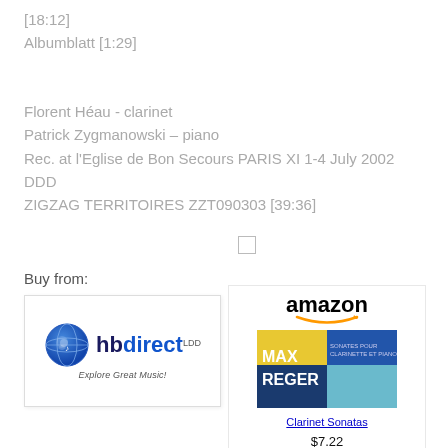[18:12]
Albumblatt [1:29]
Florent Héau - clarinet
Patrick Zygmanowski – piano
Rec. at l'Eglise de Bon Secours PARIS XI 1-4 July 2002
DDD
ZIGZAG TERRITOIRES ZZT090303 [39:36]
[Figure (other): Checkbox (empty square)]
Buy from:
[Figure (logo): hbdirect logo - globe icon with music note, text 'hbdirect' and tagline 'Explore Great Music!']
[Figure (other): Amazon product listing showing amazon logo with smile arrow, album cover for Max Reger Clarinet Sonatas (blue and yellow cover), link text 'Clarinet Sonatas', price $7.22]